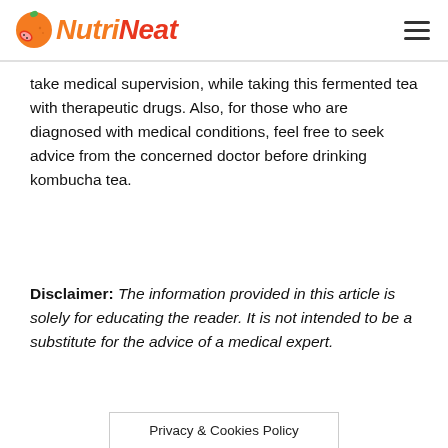NutriNeat
take medical supervision, while taking this fermented tea with therapeutic drugs. Also, for those who are diagnosed with medical conditions, feel free to seek advice from the concerned doctor before drinking kombucha tea.
Disclaimer: The information provided in this article is solely for educating the reader. It is not intended to be a substitute for the advice of a medical expert.
Privacy & Cookies Policy